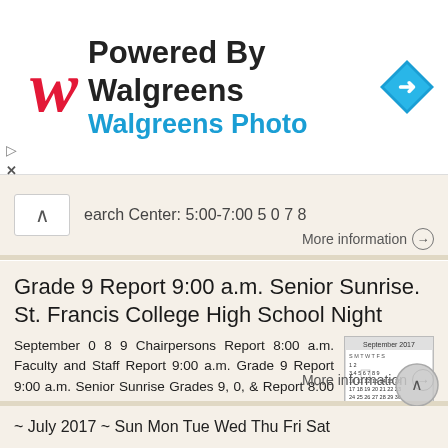[Figure (screenshot): Walgreens advertisement banner with red cursive W logo, 'Powered By Walgreens' heading, 'Walgreens Photo' subtitle in blue, and a blue diamond map navigation icon on the right.]
earch Center: 5:00-7:00 5 0 7 8
More information →
Grade 9 Report 9:00 a.m. Senior Sunrise. St. Francis College High School Night
September 0 8 9 Chairpersons Report 8:00 a.m. Faculty and Staff Report 9:00 a.m. Grade 9 Report 9:00 a.m. Senior Sunrise Grades 9, 0, & Report 8:00 a.m. Grades 9, 0, & Report 8:0 a.m. Grade 9 / Grade Picnic
[Figure (screenshot): Small calendar thumbnail for September 2017]
More information →
~ July 2017 ~ Sun Mon Tue Wed Thu Fri Sat